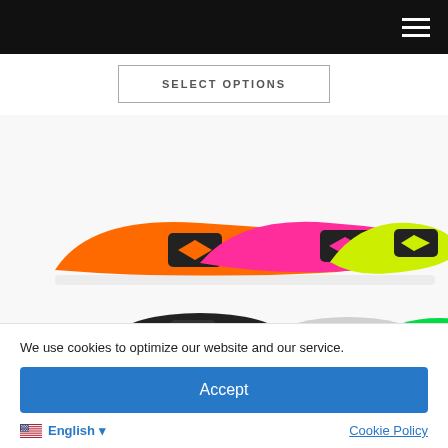Navigation bar with hamburger menu
SELECT OPTIONS
[Figure (photo): Three arrow vanes/fletches in orange, pink/magenta, and yellow-green colors with brand logo on each, arranged in a fan-like overlapping layout. Below them partially visible are black, white, and green vanes.]
We use cookies to optimize our website and our service.
Accept
English ▾
Cookie Policy